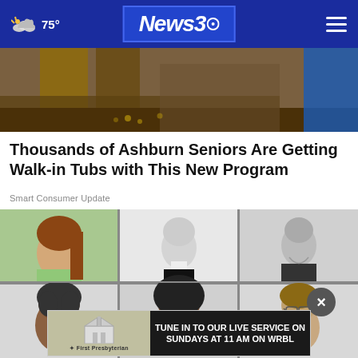75° News3 [navigation header]
[Figure (photo): Top cropped photo showing legs/feet and construction/flooring area]
Thousands of Ashburn Seniors Are Getting Walk-in Tubs with This New Program
Smart Consumer Update
[Figure (photo): Grid of six black and white yearbook-style portrait photos showing various individuals]
TUNE IN TO OUR LIVE SERVICE ON SUNDAYS AT 11 AM ON WRBL
First Presbyterian